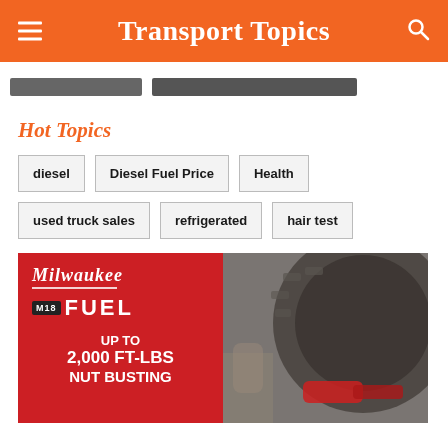Transport Topics
[Figure (screenshot): Navigation tabs/pills below header]
Hot Topics
diesel
Diesel Fuel Price
Health
used truck sales
refrigerated
hair test
[Figure (photo): Milwaukee M18 FUEL advertisement banner — UP TO 2,000 FT-LBS NUT BUSTING — with tire image on right side]